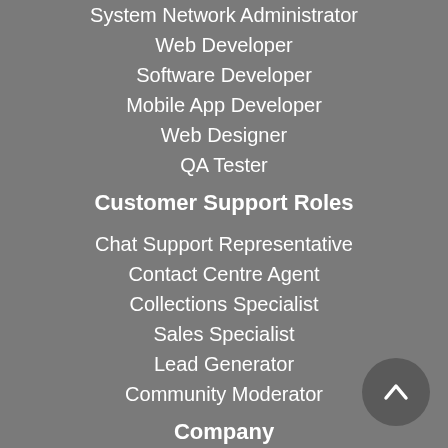System Network Administrator
Web Developer
Software Developer
Mobile App Developer
Web Designer
QA Tester
Customer Support Roles
Chat Support Representative
Contact Centre Agent
Collections Specialist
Sales Specialist
Lead Generator
Community Moderator
Company
About Us